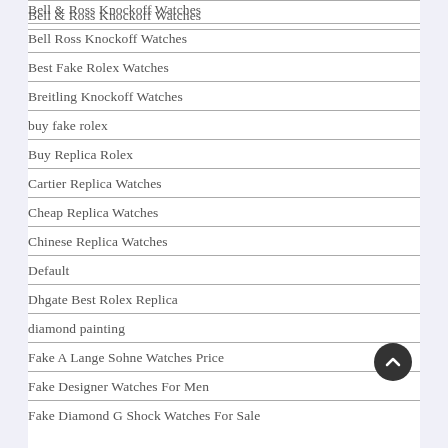Bell & Ross Knockoff Watches
Bell Ross Knockoff Watches
Best Fake Rolex Watches
Breitling Knockoff Watches
buy fake rolex
Buy Replica Rolex
Cartier Replica Watches
Cheap Replica Watches
Chinese Replica Watches
Default
Dhgate Best Rolex Replica
diamond painting
Fake A Lange Sohne Watches Price
Fake Designer Watches For Men
Fake Diamond G Shock Watches For Sale